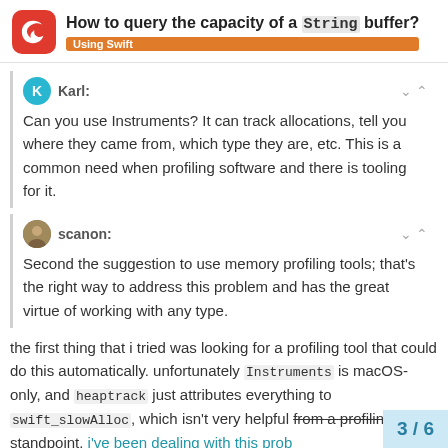How to query the capacity of a `String` buffer? Using Swift
Karl:
Can you use Instruments? It can track allocations, tell you where they came from, which type they are, etc. This is a common need when profiling software and there is tooling for it.
scanon:
Second the suggestion to use memory profiling tools; that's the right way to address this problem and has the great virtue of working with any type.
the first thing that i tried was looking for a profiling tool that could do this automatically. unfortunately Instruments is macOS-only, and heaptrack just attributes everything to swift_slowAlloc, which isn't very helpful from a profiling standpoint. i've been dealing with this prob
3 / 6